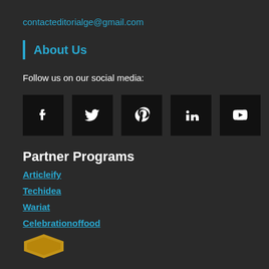contacteditorialge@gmail.com
About Us
Follow us on our social media:
[Figure (infographic): Five social media icon buttons in black squares: Facebook (f), Twitter (bird), Pinterest (p), LinkedIn (in), YouTube (play button)]
Partner Programs
Articleify
Techidea
Wariat
Celebrationoffood
[Figure (logo): Partial gold/yellow hexagonal badge at bottom of page]